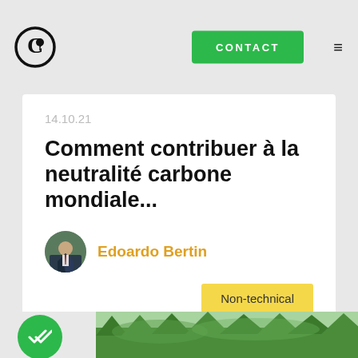CONTACT
14.10.21
Comment contribuer à la neutralité carbone mondiale...
Edoardo Bertin
Non-technical